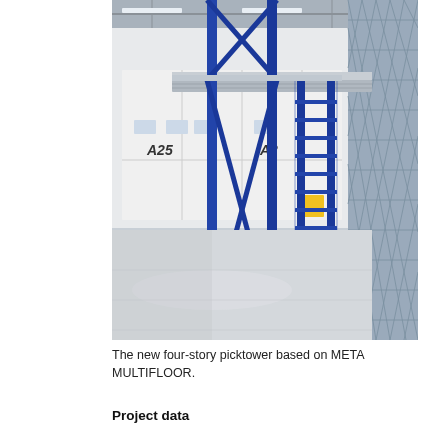[Figure (photo): Interior of a large warehouse or distribution facility showing a blue steel multi-story picktower structure (META MULTIFLOOR) with staircases and mezzanine platforms, blue structural columns, and metal mesh/grating. In the background are white storage units labeled A25. The floor is a polished light grey concrete.]
The new four-story picktower based on META MULTIFLOOR.
Project data